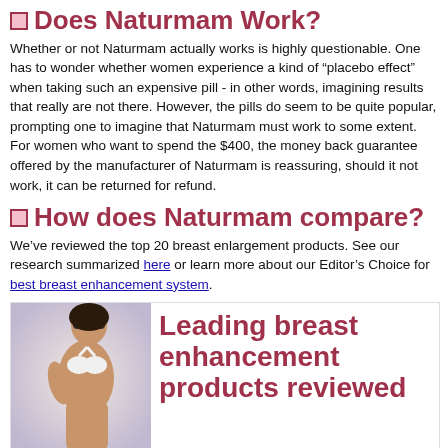Does Naturmam Work?
Whether or not Naturmam actually works is highly questionable. One has to wonder whether women experience a kind of “placebo effect” when taking such an expensive pill - in other words, imagining results that really are not there. However, the pills do seem to be quite popular, prompting one to imagine that Naturmam must work to some extent. For women who want to spend the $400, the money back guarantee offered by the manufacturer of Naturmam is reassuring, should it not work, it can be returned for refund.
How does Naturmam compare?
We’ve reviewed the top 20 breast enlargement products. See our research summarized here or learn more about our Editor’s Choice for best breast enhancement system.
[Figure (infographic): Promotional box with woman in bikini photo on left and text 'Leading breast enhancement products reviewed' on the right, with caption and link to product comparison page, and a pink button at the bottom.]